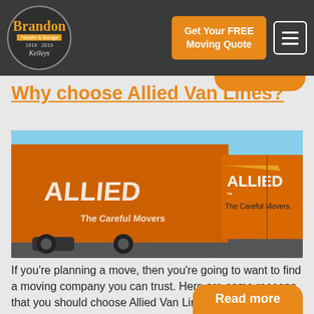[Figure (logo): Brandon Transfer & Storage logo, circular badge, 1919-2019, on dark background header]
Get Your FREE Moving Quote
Why choose Allied Van Lines?
[Figure (photo): Orange Allied Van Lines moving truck with 'ALLIED The Careful Movers' branding, parked near water under blue sky]
If you're planning a move, then you're going to want to find a moving company you can trust. Here are some reasons that you should choose Allied Van Lines.
Read more